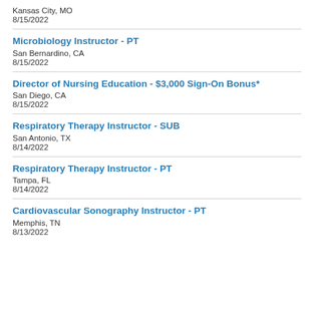Kansas City, MO
8/15/2022
Microbiology Instructor - PT
San Bernardino, CA
8/15/2022
Director of Nursing Education - $3,000 Sign-On Bonus*
San Diego, CA
8/15/2022
Respiratory Therapy Instructor - SUB
San Antonio, TX
8/14/2022
Respiratory Therapy Instructor - PT
Tampa, FL
8/14/2022
Cardiovascular Sonography Instructor - PT
Memphis, TN
8/13/2022